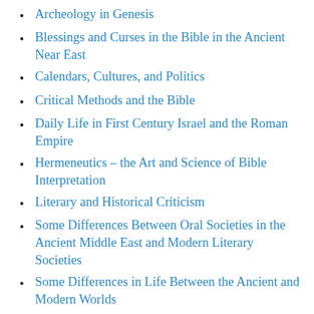Archeology in Genesis
Blessings and Curses in the Bible in the Ancient Near East
Calendars, Cultures, and Politics
Critical Methods and the Bible
Daily Life in First Century Israel and the Roman Empire
Hermeneutics – the Art and Science of Bible Interpretation
Literary and Historical Criticism
Some Differences Between Oral Societies in the Ancient Middle East and Modern Literary Societies
Some Differences in Life Between the Ancient and Modern Worlds
Tensions Between Rome and the Jews in